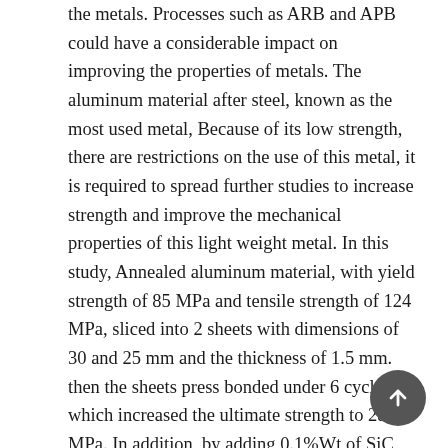the metals. Processes such as ARB and APB could have a considerable impact on improving the properties of metals. The aluminum material after steel, known as the most used metal, Because of its low strength, there are restrictions on the use of this metal, it is required to spread further studies to increase strength and improve the mechanical properties of this light weight metal. In this study, Annealed aluminum material, with yield strength of 85 MPa and tensile strength of 124 MPa, sliced into 2 sheets with dimensions of 30 and 25 mm and the thickness of 1.5 mm. then the sheets press bonded under 6 cycles, which increased the ultimate strength to 281 MPa. In addition, by adding 0.1%Wt of SiC particles to interface of the sheets, the sheets press bonded by 6 cycles to achieve a homogeneous composite. The same operation using Al2O3 particles and a mixture of SiC+Al2O3 particles was repeated and the amount of strength and elongation of